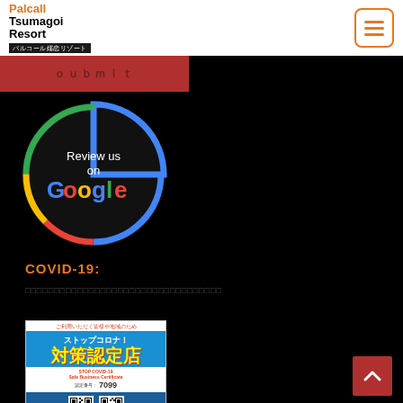Palcall Tsumagoi Resort パルコール嬬恋リゾート
[Figure (logo): Hamburger menu button with orange border]
[Figure (illustration): Red submit button bar with partially obscured Japanese text]
[Figure (illustration): Review us on Google circle badge with Google logo colors]
COVID-19:
□□□□□□□□□□□□□□□□□□□□□□□□□□□□□□□□
[Figure (illustration): Stop COVID-19 Safe Business Certificate (ストップコロナ！対策認定店) with number 7099 and QR code]
[Figure (illustration): Back to top arrow button (red square with up caret)]